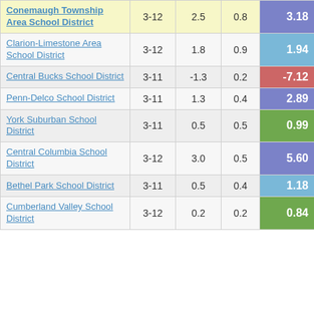| School District | Grades | Col3 | Col4 | Score |
| --- | --- | --- | --- | --- |
| Conemaugh Township Area School District | 3-12 | 2.5 | 0.8 | 3.18 |
| Clarion-Limestone Area School District | 3-12 | 1.8 | 0.9 | 1.94 |
| Central Bucks School District | 3-11 | -1.3 | 0.2 | -7.12 |
| Penn-Delco School District | 3-11 | 1.3 | 0.4 | 2.89 |
| York Suburban School District | 3-11 | 0.5 | 0.5 | 0.99 |
| Central Columbia School District | 3-12 | 3.0 | 0.5 | 5.60 |
| Bethel Park School District | 3-11 | 0.5 | 0.4 | 1.18 |
| Cumberland Valley School District | 3-12 | 0.2 | 0.2 | 0.84 |